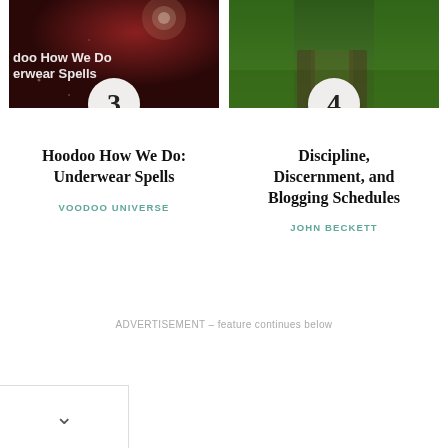[Figure (photo): Dark reddish background with bokeh light spot, overlaid white text reading 'doo How We Do erwear Spells', numbered badge '3' at bottom center]
[Figure (photo): Green forest path with tire tracks through grass, numbered badge '4' at bottom center]
Hoodoo How We Do: Underwear Spells
VOODOO UNIVERSE
Discipline, Discernment, and Blogging Schedules
JOHN BECKETT
ADVERTISEMENT – feature continues below